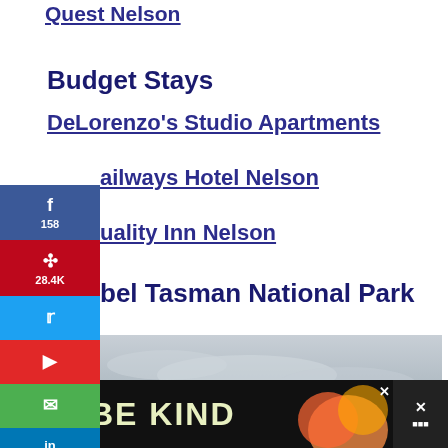Quest Nelson
Budget Stays
DeLorenzo's Studio Apartments
Railways Hotel Nelson
Quality Inn Nelson
Abel Tasman National Park
[Figure (photo): Coastal scene at Abel Tasman National Park showing large granite boulders near the ocean shoreline with overcast sky]
BE KIND
[Figure (infographic): Social media sharing sidebar with Facebook (158), Pinterest (28.4K), Twitter, Flipboard, Email, LinkedIn buttons]